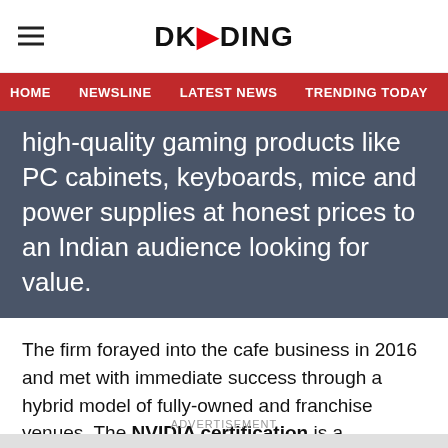DKODING
HOME   NEWSLINE   LATEST NEWS   TRENDING TODAY   ENT
high-quality gaming products like PC cabinets, keyboards, mice and power supplies at honest prices to an Indian audience looking for value.
The firm forayed into the cafe business in 2016 and met with immediate success through a hybrid model of fully-owned and franchise venues. The NVIDIA certification is a testament to CIRCLE Gaming's passion and business acumen.
ADVERTISEMENT